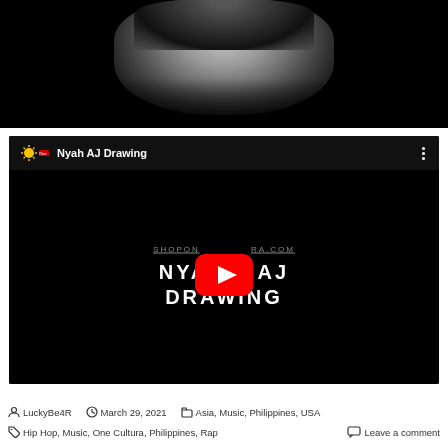[Figure (photo): Black and white photo of a person with dreadlocks, mouth open, taken from below, cropped at top and bottom with black bar at bottom]
[Figure (screenshot): Embedded YouTube video player showing 'Nyah AJ Drawing' video with One Cultura channel logo, red play button in center, text 'SHOPONCULTURA.COM' and 'NYAH'S AJ DRAWING' on black background]
LuckyBe4R   March 29, 2021   Asia, Music, Philippines, USA
Hip Hop, Music, One Cultura, Philippines, Rap   Leave a comment